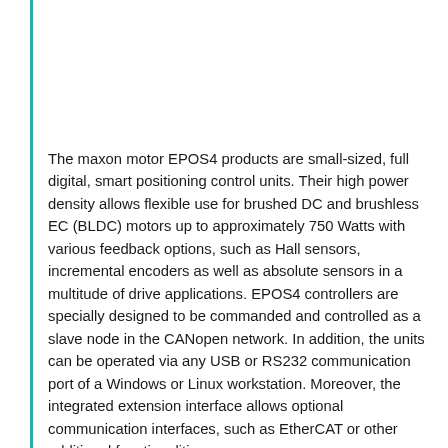The maxon motor EPOS4 products are small-sized, full digital, smart positioning control units. Their high power density allows flexible use for brushed DC and brushless EC (BLDC) motors up to approximately 750 Watts with various feedback options, such as Hall sensors, incremental encoders as well as absolute sensors in a multitude of drive applications. EPOS4 controllers are specially designed to be commanded and controlled as a slave node in the CANopen network. In addition, the units can be operated via any USB or RS232 communication port of a Windows or Linux workstation. Moreover, the integrated extension interface allows optional communication interfaces, such as EtherCAT or other additional functionalities.
Latest technology, such as field-oriented control (FOC) and acceleration/velocity feed forward in combination with highest control cycle rates allow sophisticated, ease-of-use motion